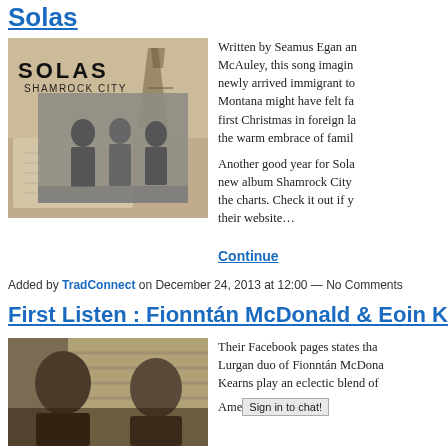Solas
[Figure (photo): Album cover for Solas Shamrock City showing old black and white photograph of three people standing outdoors, with vintage documents and oil derrick in background]
Written by Seamus Egan and McAuley, this song imagines a newly arrived immigrant to Montana might have felt facing first Christmas in foreign land the warm embrace of family...
Another good year for Solas, new album Shamrock City the charts. Check it out if y their website…
Continue
Added by TradConnect on December 24, 2013 at 12:00 — No Comments
First Listen : Fionntán McDonald & Eoin K
[Figure (photo): Two people sitting indoors, appears to be a musical session or interview setting]
Their Facebook pages states that Lurgan duo of Fionntán McDonald Kearns play an eclectic blend of Ame...
Sign in to chat!